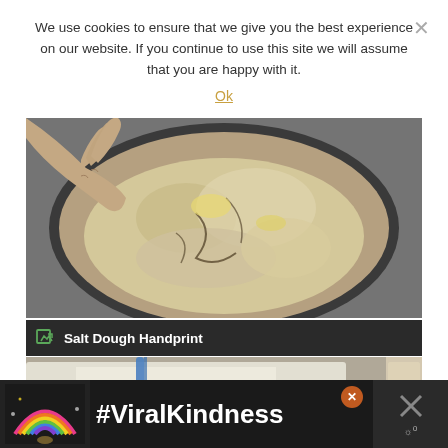We use cookies to ensure that we give you the best experience on our website. If you continue to use this site we will assume that you are happy with it.
Ok
[Figure (photo): Overhead view of a glass mixing bowl containing crumbly salt dough mixture being handled by a hand, showing flour and butter mixture in early stage of preparation, with a dark granite countertop visible underneath.]
Salt Dough Handprint
[Figure (photo): Partial view of a second step image showing white dough or salt dough on a surface with blue and other colored implements visible.]
[Figure (other): Advertisement banner showing a rainbow illustration and the text #ViralKindness on a dark background, with a close button and a weather widget icon on the right.]